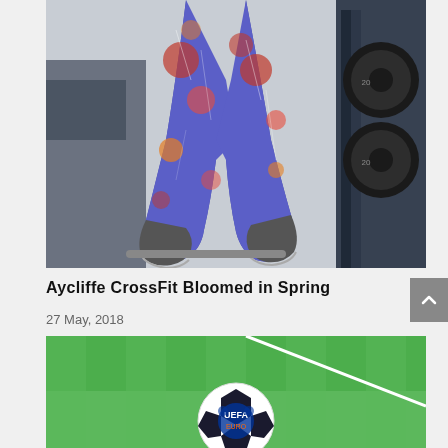[Figure (photo): CrossFit athlete jumping mid-air wearing colorful blue and red patterned leggings, in a gym with weight racks and plates visible in the background]
Aycliffe CrossFit Bloomed in Spring
27 May, 2018
[Figure (photo): Soccer ball on green artificial grass field with white line visible]